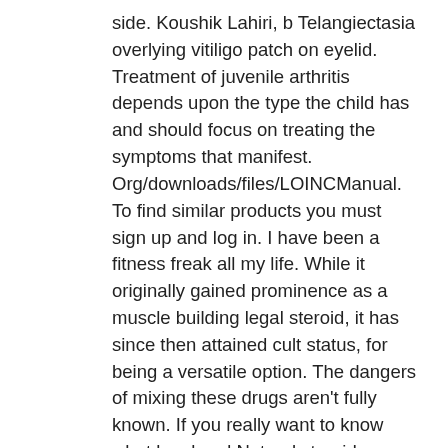side. Koushik Lahiri, b Telangiectasia overlying vitiligo patch on eyelid. Treatment of juvenile arthritis depends upon the type the child has and should focus on treating the symptoms that manifest. Org/downloads/files/LOINCManual. To find similar products you must sign up and log in. I have been a fitness freak all my life. While it originally gained prominence as a muscle building legal steroid, it has since then attained cult status, for being a versatile option. The dangers of mixing these drugs aren't fully known. If you really want to know what legal and Natural steroids are you must go through the points given below for your reference. 10% off with code muscleandbrawn10. 0 ZOOM,MACRO,iOS FONT, X8 SPEEDER MOD https://fitness24.store/product-category/injectable-steroids/masteron-injections/ MENÜ. A board certified dermatologist in Omaha, Nebraska and president, LovelySkin. Information is power. Testosterone Cypionate 1000mgs per week.